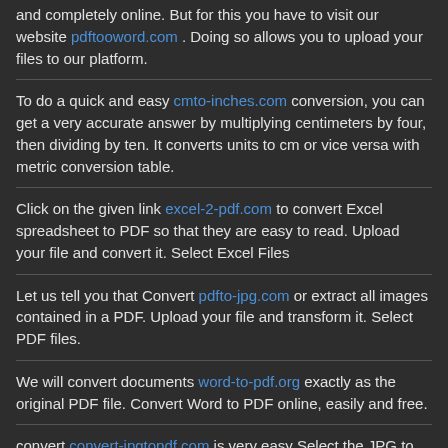and completely online. But for this you have to visit our website pdftooword.com . Doing so allows you to upload your files to our platform.
To do a quick and easy cmto-inches.com conversion, you can get a very accurate answer by multiplying centimeters by four, then dividing by ten. It converts units to cm or vice versa with metric conversion table.
Click on the given link excel-2-pdf.com to convert Excel spreadsheet to PDF so that they are easy to read. Upload your file and convert it. Select Excel Files
Let us tell you that Convert pdfto-jpg.com or extract all images contained in a PDF. Upload your file and transform it. Select PDF files.
We will convert documents word-to-pdf.org exactly as the original PDF file. Convert Word to PDF online, easily and free.
convert convert-jpgtopdf.com is very easy Select the JPG to convert on your device. Define the appearance of your PDF document: page format, etc. Click the " ...Select a JPG file from your computer or a cloud storage service such as Google Drive or Dropbox, or simply drag and drop the JPG file into the appropriate ...